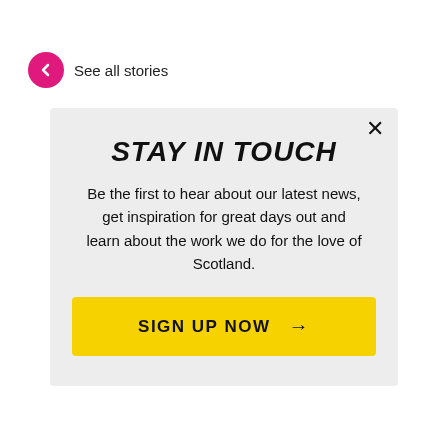← See all stories
STAY IN TOUCH
Be the first to hear about our latest news, get inspiration for great days out and learn about the work we do for the love of Scotland.
SIGN UP NOW →